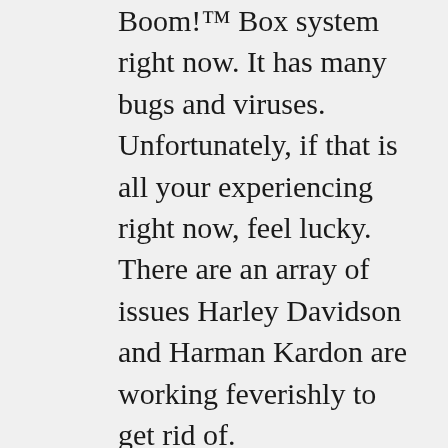Boom!™ Box system right now. It has many bugs and viruses. Unfortunately, if that is all your experiencing right now, feel lucky. There are an array of issues Harley Davidson and Harman Kardon are working feverishly to get rid of.
With that said, the only way to fix these issues it to make certain you are running the latest software at all times on your Boom!™ Box system. Just like a smartphone or computer, this system needs to be up to date.